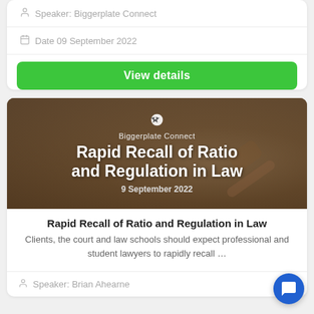Speaker: Biggerplate Connect
Date 09 September 2022
View details
[Figure (photo): Legal themed banner image with a judge's gavel and law books in the background. Overlaid text reads: Biggerplate Connect, Rapid Recall of Ratio and Regulation in Law, 9 September 2022]
Rapid Recall of Ratio and Regulation in Law
Clients, the court and law schools should expect professional and student lawyers to rapidly recall …
Speaker: Brian Ahearne